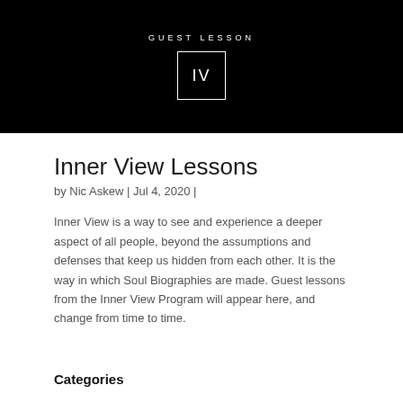[Figure (other): Black hero banner with 'GUEST LESSON' label in white spaced caps and a white-bordered box containing the Roman numeral IV]
Inner View Lessons
by Nic Askew | Jul 4, 2020 |
Inner View is a way to see and experience a deeper aspect of all people, beyond the assumptions and defenses that keep us hidden from each other. It is the way in which Soul Biographies are made. Guest lessons from the Inner View Program will appear here, and change from time to time.
Categories